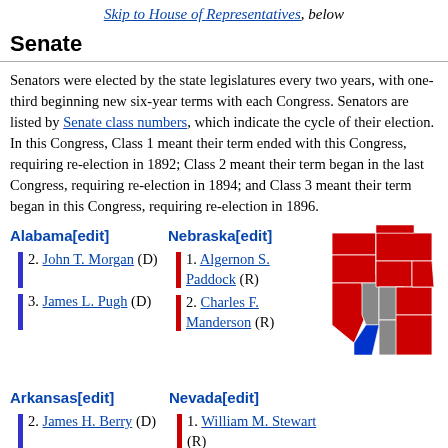Skip to House of Representatives, below
Senate
Senators were elected by the state legislatures every two years, with one-third beginning new six-year terms with each Congress. Senators are listed by Senate class numbers, which indicate the cycle of their election. In this Congress, Class 1 meant their term ended with this Congress, requiring re-election in 1892; Class 2 meant their term began in the last Congress, requiring re-election in 1894; and Class 3 meant their term began in this Congress, requiring re-election in 1896.
Alabama[edit]
Nebraska[edit]
2. John T. Morgan (D)
3. James L. Pugh (D)
1. Algernon S. Paddock (R)
2. Charles F. Manderson (R)
[Figure (map): US map showing states colored by party: red for Republican, blue for Democrat, gray for other/vacant]
Arkansas[edit]
Nevada[edit]
2. James H. Berry (D)
1. William M. Stewart (R)